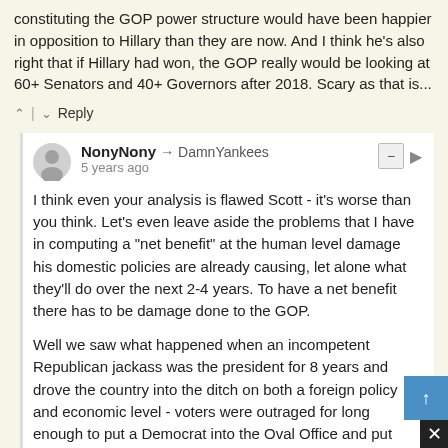constituting the GOP power structure would have been happier in opposition to Hillary than they are now. And I think he's also right that if Hillary had won, the GOP really would be looking at 60+ Senators and 40+ Governors after 2018. Scary as that is...
^ | v Reply
NonyNony → DamnYankees 5 years ago
I think even your analysis is flawed Scott - it's worse than you think. Let's even leave aside the problems that I have in computing a "net benefit" at the human level damage his domestic policies are already causing, let alone what they'll do over the next 2-4 years. To have a net benefit there has to be damage done to the GOP.
Well we saw what happened when an incompetent Republican jackass was the president for 8 years and drove the country into the ditch on both a foreign policy and economic level - voters were outraged for long enough to put a Democrat into the Oval Office and put what turn to be very slim Democratic majorities into Congress ( the filibuster was accounted for) and that lasted for all of 2